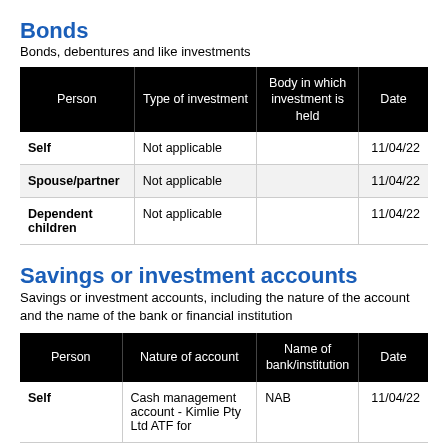Bonds
Bonds, debentures and like investments
| Person | Type of investment | Body in which investment is held | Date |
| --- | --- | --- | --- |
| Self | Not applicable |  | 11/04/22 |
| Spouse/partner | Not applicable |  | 11/04/22 |
| Dependent children | Not applicable |  | 11/04/22 |
Savings or investment accounts
Savings or investment accounts, including the nature of the account and the name of the bank or financial institution
| Person | Nature of account | Name of bank/institution | Date |
| --- | --- | --- | --- |
| Self | Cash management account - Kimlie Pty Ltd ATF for | NAB | 11/04/22 |